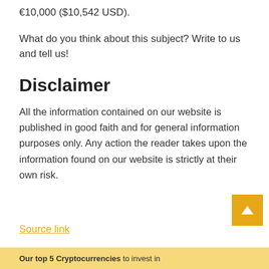€10,000 ($10,542 USD).
What do you think about this subject? Write to us and tell us!
Disclaimer
All the information contained on our website is published in good faith and for general information purposes only. Any action the reader takes upon the information found on our website is strictly at their own risk.
Source link
Our top 5 Cryptocurrencies to invest in